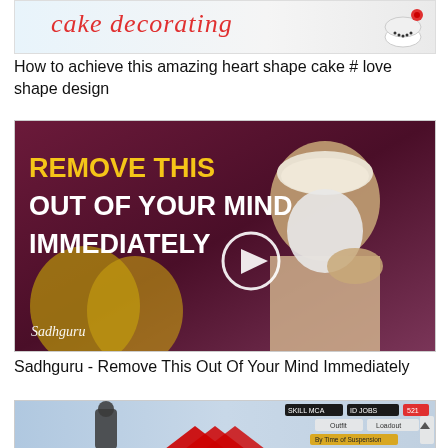[Figure (screenshot): Thumbnail image showing cake decorating content with pink text 'cake decorating' and a decorated cake with red flower]
How to achieve this amazing heart shape cake # love shape design
[Figure (screenshot): Video thumbnail with dark red/maroon background showing text 'REMOVE THIS OUT OF YOUR MIND IMMEDIATELY' in yellow and white bold text with a play button. An Indian spiritual guru (Sadhguru) with white beard and turban is visible on the right side. Sadhguru signature is on the bottom left.]
Sadhguru - Remove This Out Of Your Mind Immediately
[Figure (screenshot): Partial video thumbnail showing a person/character silhouette with game-like UI overlay including buttons and red arrow graphics at bottom]